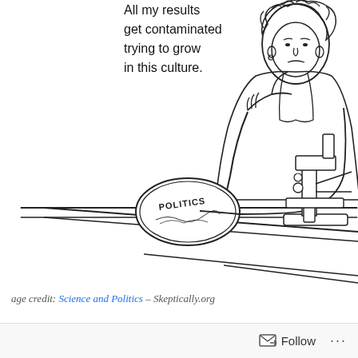[Figure (illustration): A line-drawing cartoon of a scientist (woman with curly hair) sitting at a lab bench looking dejected, resting her chin on her hand. Next to her is a microscope. On the bench in front of her is a petri dish with the word 'POLITICS' written in it. A speech bubble reads: 'All my results get contaminated trying to grow in this culture.']
age credit: Science and Politics – Skeptically.org
It seems impossible to keep politics out of science. It's a